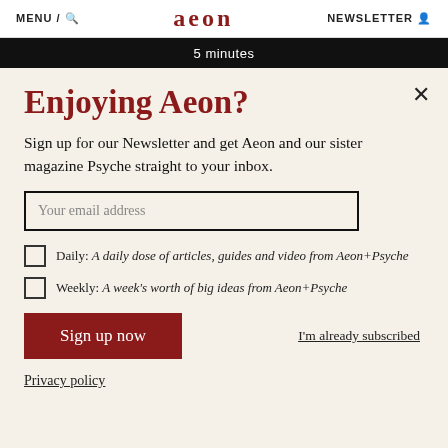MENU / 🔍   aeon   NEWSLETTER 👤
5 minutes
Enjoying Aeon?
Sign up for our Newsletter and get Aeon and our sister magazine Psyche straight to your inbox.
Your email address
Daily: A daily dose of articles, guides and video from Aeon+Psyche
Weekly: A week's worth of big ideas from Aeon+Psyche
Sign up now
I'm already subscribed
Privacy policy